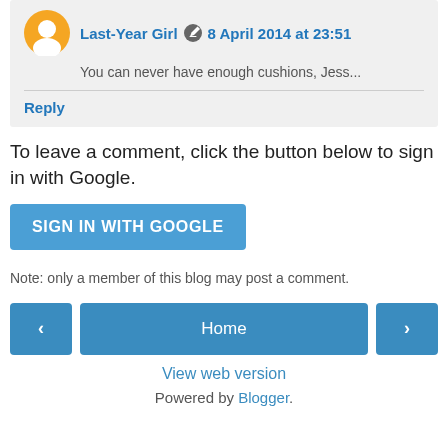Last-Year Girl  8 April 2014 at 23:51
You can never have enough cushions, Jess...
Reply
To leave a comment, click the button below to sign in with Google.
SIGN IN WITH GOOGLE
Note: only a member of this blog may post a comment.
< Home > View web version Powered by Blogger.